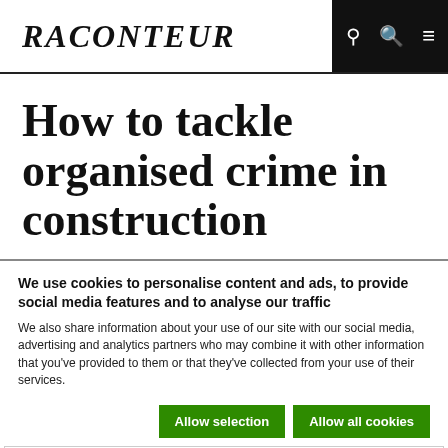RACONTEUR
How to tackle organised crime in construction
We use cookies to personalise content and ads, to provide social media features and to analyse our traffic
We also share information about your use of our site with our social media, advertising and analytics partners who may combine it with other information that you've provided to them or that they've collected from your use of their services.
Allow selection | Allow all cookies
Necessary | Preferences | Statistics | Marketing | Show details